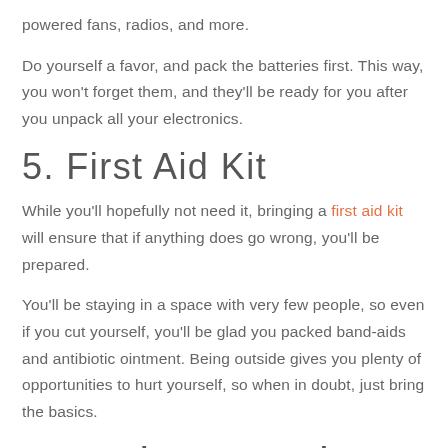powered fans, radios, and more.
Do yourself a favor, and pack the batteries first. This way, you won't forget them, and they'll be ready for you after you unpack all your electronics.
5. First Aid Kit
While you'll hopefully not need it, bringing a first aid kit will ensure that if anything does go wrong, you'll be prepared.
You'll be staying in a space with very few people, so even if you cut yourself, you'll be glad you packed band-aids and antibiotic ointment. Being outside gives you plenty of opportunities to hurt yourself, so when in doubt, just bring the basics.
Use These Tools on Your Camping Trip